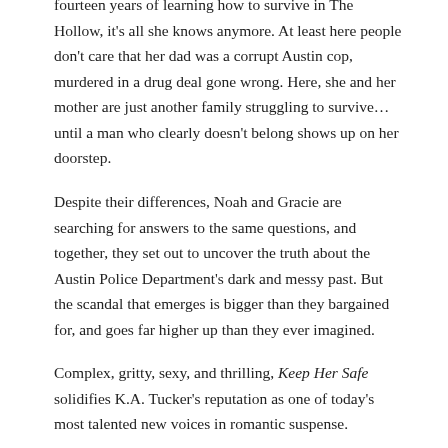fourteen years of learning how to survive in The Hollow, it's all she knows anymore. At least here people don't care that her dad was a corrupt Austin cop, murdered in a drug deal gone wrong. Here, she and her mother are just another family struggling to survive…until a man who clearly doesn't belong shows up on her doorstep.
Despite their differences, Noah and Gracie are searching for answers to the same questions, and together, they set out to uncover the truth about the Austin Police Department's dark and messy past. But the scandal that emerges is bigger than they bargained for, and goes far higher up than they ever imagined.
Complex, gritty, sexy, and thrilling, Keep Her Safe solidifies K.A. Tucker's reputation as one of today's most talented new voices in romantic suspense.
Click here to purchase at Amazon.